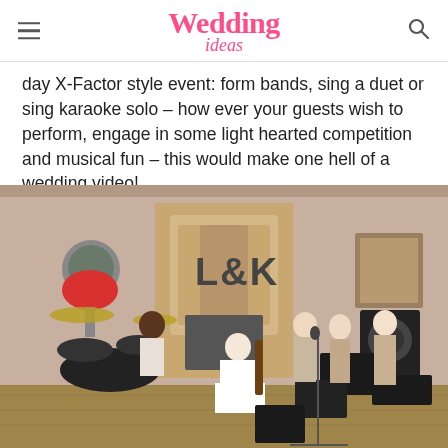Wedding ideas
day X-Factor style event: form bands, sing a duet or sing karaoke solo – how ever your guests wish to perform, engage in some light hearted competition and musical fun – this would make one hell of a wedding video!
[Figure (photo): A bride in a white dress sits on the floor holding a guitar, surrounded by four bridesmaids in beige dresses, one playing guitar, one at drums, two at microphones — all posing as a band in a wood-paneled room with a fireplace decorated with marquee letters L&K.]